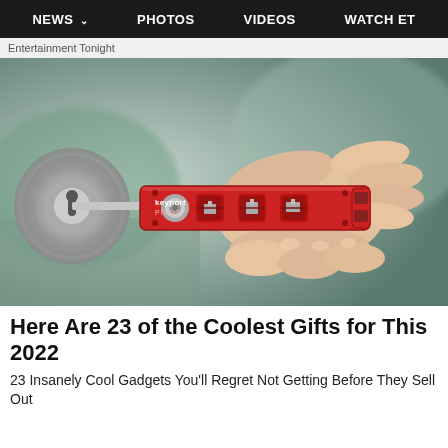NEWS   PHOTOS   VIDEOS   WATCH ET
Entertainment Tonight
[Figure (photo): A hand holding a red Keyport PIVOT multi-tool key organizer, inserting a key into a door lock. The device is red with the text 'keyport PIVOT' printed on it and has multiple key slots visible.]
Here Are 23 of the Coolest Gifts for This 2022
23 Insanely Cool Gadgets You'll Regret Not Getting Before They Sell Out